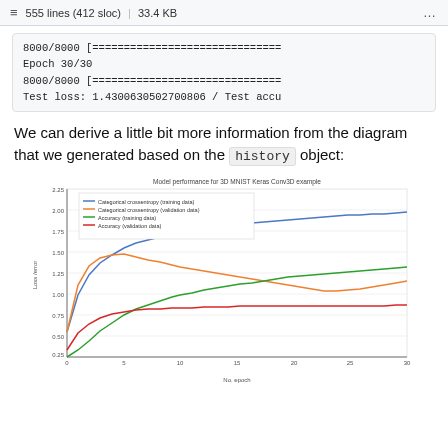555 lines (412 sloc) | 33.4 KB
8000/8000 [==============================
Epoch 30/30
8000/8000 [==============================
Test loss: 1.4300630502700806 / Test accu
We can derive a little bit more information from the diagram that we generated based on the history object:
[Figure (line-chart): Line chart showing model training/validation loss and accuracy over 30 epochs for a 3D MNIST Keras Conv3D example. Loss curves decrease and accuracy curves increase over epochs.]